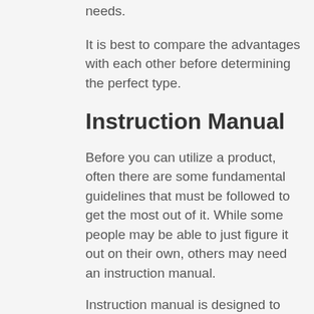needs.
It is best to compare the advantages with each other before determining the perfect type.
Instruction Manual
Before you can utilize a product, often there are some fundamental guidelines that must be followed to get the most out of it. While some people may be able to just figure it out on their own, others may need an instruction manual.
Instruction manual is designed to